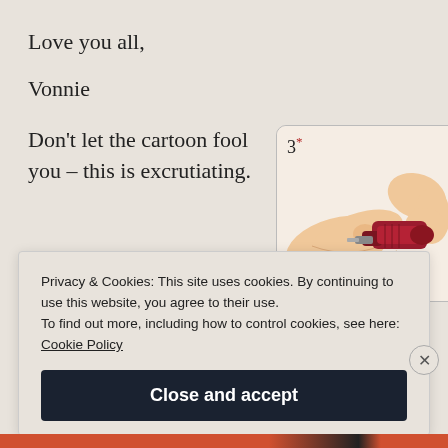Love you all,
Vonnie
Don't let the cartoon fool you – this is excrutiating.
[Figure (illustration): Medical illustration showing a hand holding a device (appears to be a TENS unit or injection device) being applied to a wrist/arm joint. Labeled '3*' in upper left corner.]
Privacy & Cookies: This site uses cookies. By continuing to use this website, you agree to their use.
To find out more, including how to control cookies, see here: Cookie Policy
Close and accept